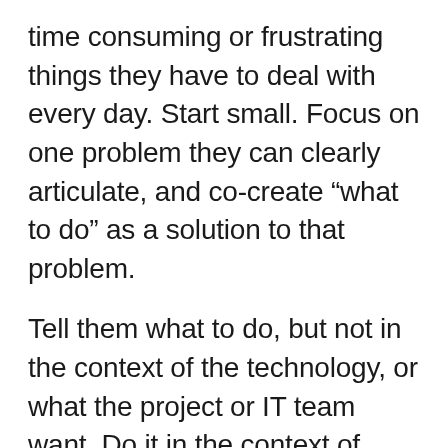time consuming or frustrating things they have to deal with every day. Start small. Focus on one problem they can clearly articulate, and co-create “what to do” as a solution to that problem.
Tell them what to do, but not in the context of the technology, or what the project or IT team want. Do it in the context of something they care about.
“That makes sense. Now, lets talk about other 17 things that take up way too much